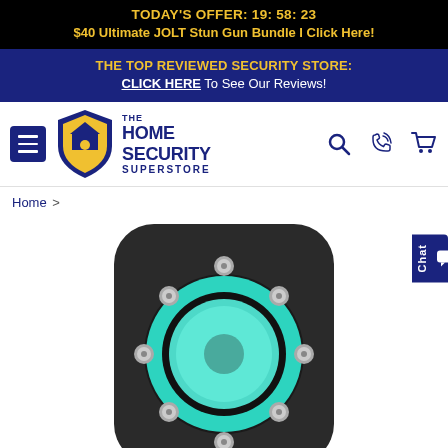TODAY'S OFFER: 19: 58: 23
$40 Ultimate JOLT Stun Gun Bundle I Click Here!
THE TOP REVIEWED SECURITY STORE: CLICK HERE To See Our Reviews!
[Figure (logo): The Home Security Superstore logo with shield icon and hamburger menu]
Home >
[Figure (photo): Close-up of a security camera lens with teal/green lens element surrounded by 8 silver screws/LED nodes on a dark rounded rectangular body]